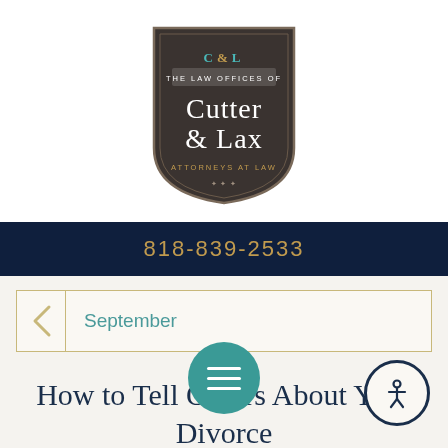[Figure (logo): Cutter & Lax Law Offices shield logo with dark background, C&L monogram, and text reading THE LAW OFFICES OF CUTTER & LAX ATTORNEYS AT LAW]
818-839-2533
September
How to Tell Others About Your Divorce
September 3, 2015